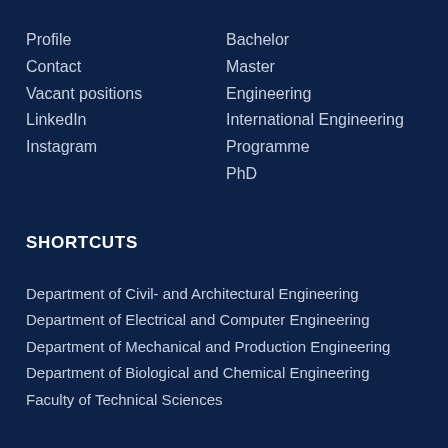Profile
Contact
Vacant positions
LinkedIn
Instagram
Bachelor
Master
Engineering
International Engineering
Programme
PhD
SHORTCUTS
Department of Civil- and Architectural Engineering
Department of Electrical and Computer Engineering
Department of Mechanical and Production Engineering
Department of Biological and Chemical Engineering
Faculty of Technical Sciences